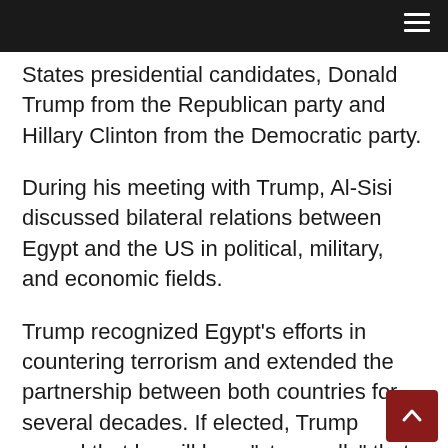≡
States presidential candidates, Donald Trump from the Republican party and Hillary Clinton from the Democratic party.
During his meeting with Trump, Al-Sisi discussed bilateral relations between Egypt and the US in political, military, and economic fields.
Trump recognized Egypt's efforts in countering terrorism and extended the partnership between both countries for several decades. If elected, Trump vowed that he will be a "strong ally" that Egypt rely on for the next few years, saying that